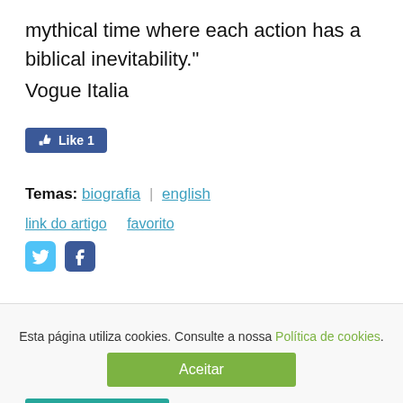mythical time where each action has a biblical inevitability."
Vogue Italia
[Figure (other): Facebook Like button showing count of 1]
Temas: biografia | english
link do artigo    favorito
[Figure (other): Twitter and Facebook social sharing icons]
Esta página utiliza cookies. Consulte a nossa Política de cookies.
Aceitar